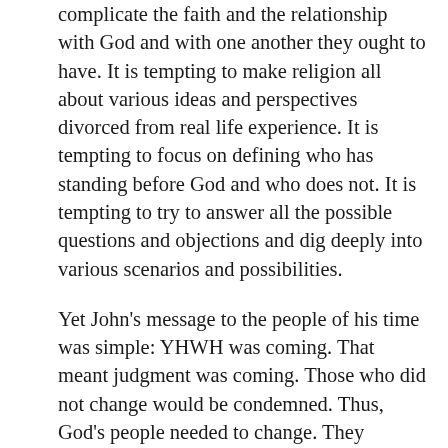complicate the faith and the relationship with God and with one another they ought to have. It is tempting to make religion all about various ideas and perspectives divorced from real life experience. It is tempting to focus on defining who has standing before God and who does not. It is tempting to try to answer all the possible questions and objections and dig deeply into various scenarios and possibilities.
Yet John's message to the people of his time was simple: YHWH was coming. That meant judgment was coming. Those who did not change would be condemned. Thus, God's people needed to change. They couldn't trust in their ancestry for their standing. They needed to act as if God was coming soon. And to do that they needed to share what they had.
When they shared what they had, they demonstrated they trusted in God to provide for their necessities. They demonstrated their obedience to His command and directive. They displayed love for one another in providing for what they needed. In sharing they confessed their light hold on the things of this world and the higher priority of one another than in material comfort.
Jesus also confessed, however, that the least in the Kingdom of God was greater than John (Matthew 11:11). All John had...